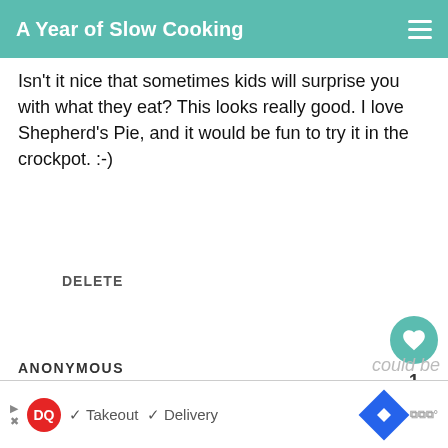A Year of Slow Cooking
Isn't it nice that sometimes kids will surprise you with what they eat? This looks really good. I love Shepherd's Pie, and it would be fun to try it in the crockpot. :-)
DELETE
ANONYMOUS
9/27/2008
It's impossible for everyone in my h the same thing at dinner. My sister eats a sandwich from Subway, I eat something vegan,
[Figure (screenshot): WHAT'S NEXT arrow banner with CrockPot Hamburger... thumbnail]
[Figure (screenshot): Dairy Queen ad banner with Takeout and Delivery checkmarks and navigation icon]